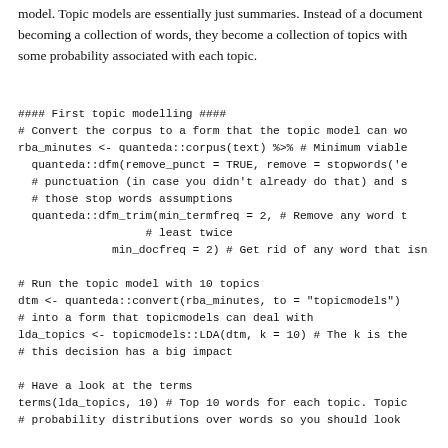model. Topic models are essentially just summaries. Instead of a document becoming a collection of words, they become a collection of topics with some probability associated with each topic.
#### First topic modelling ####
# Convert the corpus to a form that the topic model can wo
rba_minutes <- quanteda::corpus(text) %>% # Minimum viable
  quanteda::dfm(remove_punct = TRUE, remove = stopwords('e
  # punctuation (in case you didn't already do that) and s
  # those stop words assumptions
  quanteda::dfm_trim(min_termfreq = 2, # Remove any word t
                     # least twice
                min_docfreq = 2) # Get rid of any word that isn

# Run the topic model with 10 topics
dtm <- quanteda::convert(rba_minutes, to = "topicmodels")
# into a form that topicmodels can deal with
lda_topics <- topicmodels::LDA(dtm, k = 10) # The k is the
# this decision has a big impact

# Have a look at the terms
terms(lda_topics, 10) # Top 10 words for each topic. Topic
# probability distributions over words so you should look